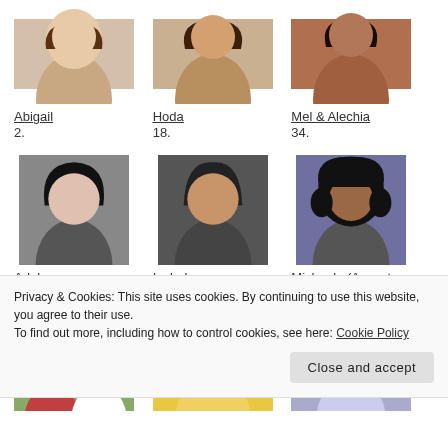[Figure (photo): Portrait photo of Abigail (top, partially cut off)]
Abigail
2.
[Figure (photo): Portrait photo of Hoda (top, partially cut off)]
Hoda
18.
[Figure (photo): Portrait photo of Mel & Alechia (top, partially cut off)]
Mel & Alechia
34.
[Figure (photo): Portrait photo of Adalyn]
Adalyn
3.
[Figure (photo): Portrait photo of Isabel]
Isabel
19.
[Figure (photo): Portrait photo of Michaela (Accepts NA)]
Michaela (Accepts NA)
35.
[Figure (photo): Two-person photo (pair of women)]
[Figure (photo): Portrait photo of blonde woman]
[Figure (photo): Portrait photo of child/toddler]
Privacy & Cookies: This site uses cookies. By continuing to use this website, you agree to their use.
To find out more, including how to control cookies, see here: Cookie Policy
Close and accept